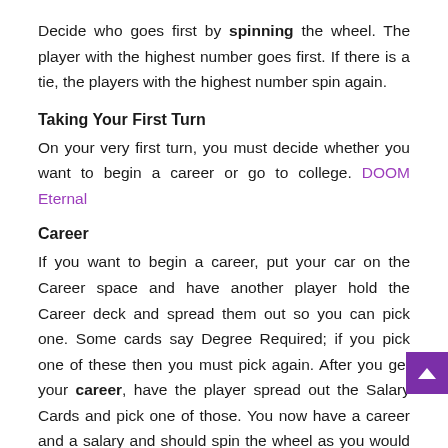Decide who goes first by spinning the wheel. The player with the highest number goes first. If there is a tie, the players with the highest number spin again.
Taking Your First Turn
On your very first turn, you must decide whether you want to begin a career or go to college. DOOM Eternal
Career
If you want to begin a career, put your car on the Career space and have another player hold the Career deck and spread them out so you can pick one. Some cards say Degree Required; if you pick one of these then you must pick again. After you get your career, have the player spread out the Salary Cards and pick one of those. You now have a career and a salary and should spin the wheel as you would on any other turn.